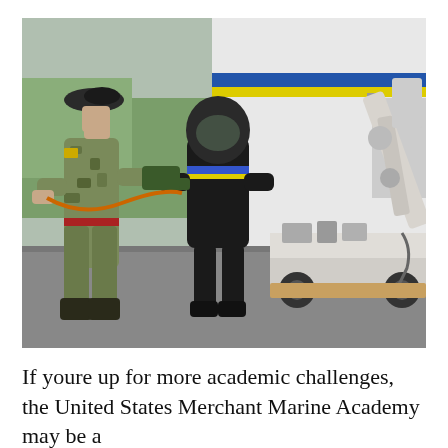[Figure (photo): A soldier in camouflage uniform and beret assists a child wearing a full bomb disposal suit (black padded suit and helmet with visor) near a white bomb disposal robot with a mechanical arm. A police or military vehicle with blue and yellow markings is visible in the background. They appear to be on a paved outdoor area with grass visible.]
If youre up for more academic challenges, the United States Merchant Marine Academy may be a